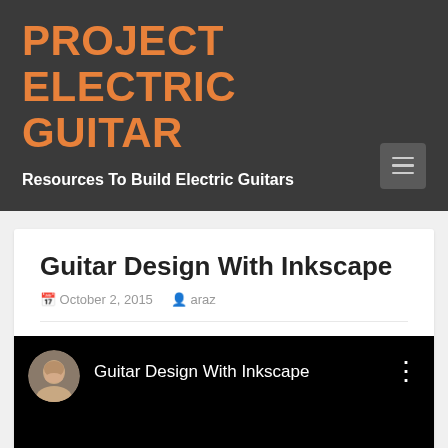PROJECT ELECTRIC GUITAR
Resources To Build Electric Guitars
Guitar Design With Inkscape
October 2, 2015   araz
[Figure (screenshot): YouTube video embed showing 'Guitar Design With Inkscape' with a circular avatar photo of a man on the left and the video title text, with a three-dot menu icon on the right, on a black background.]